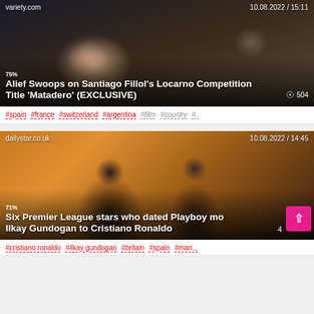[Figure (screenshot): News article card from variety.com dated 10.08.2022 / 15:11 showing two people with a film camera. Title: 'Alief Swoops on Santiago Fillol's Locarno Competition Title 'Matadero' (EXCLUSIVE)'. Match indicator 75%, TItle. View count: 504.]
#spain #france #switzerland #argentina #film #country #...
[Figure (screenshot): News article card from dailystar.co.uk dated 10.08.2022 / 14:45 showing a couple. Title: 'Six Premier League stars who dated Playboy mo[dels] Ilkay Gundogan to Cristiano Ronaldo'. Match indicator 71%, Ilkay.]
#cristiano ronaldo #ilkay gundogan #britain #spain #man...